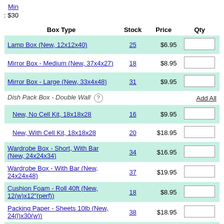Min: $30
| Box Type | Stock | Price | Qty |
| --- | --- | --- | --- |
| Lamp Box (New, 12x12x40) | 25 | $6.95 |  |
| Mirror Box - Medium (New, 37x4x27) | 18 | $8.95 |  |
| Mirror Box - Large (New, 33x4x48) | 31 | $9.95 |  |
| Dish Pack Box - Double Wall |  |  | Add All |
| New, No Cell Kit, 18x18x28 | 16 | $9.95 |  |
| New, With Cell Kit, 18x18x28 | 20 | $18.95 |  |
| Wardrobe Box - Short, With Bar (New, 24x24x34) | 34 | $16.95 |  |
| Wardrobe Box - With Bar (New, 24x24x48) | 37 | $19.95 |  |
| Cushion Foam - Roll 40ft (New, 12(w)x12"(perf)) | 18 | $8.95 |  |
| Packing Paper - Sheets 10lb (New, 24(l)x30(w)) | 38 | $18.95 |  |
| Moving Kit |  |  |  |